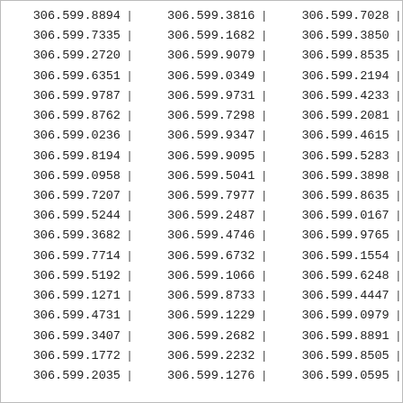| Col1 | Col2 | Col3 |
| --- | --- | --- |
| 306.599.8894 | 306.599.3816 | 306.599.7028 |
| 306.599.7335 | 306.599.1682 | 306.599.3850 |
| 306.599.2720 | 306.599.9079 | 306.599.8535 |
| 306.599.6351 | 306.599.0349 | 306.599.2194 |
| 306.599.9787 | 306.599.9731 | 306.599.4233 |
| 306.599.8762 | 306.599.7298 | 306.599.2081 |
| 306.599.0236 | 306.599.9347 | 306.599.4615 |
| 306.599.8194 | 306.599.9095 | 306.599.5283 |
| 306.599.0958 | 306.599.5041 | 306.599.3898 |
| 306.599.7207 | 306.599.7977 | 306.599.8635 |
| 306.599.5244 | 306.599.2487 | 306.599.0167 |
| 306.599.3682 | 306.599.4746 | 306.599.9765 |
| 306.599.7714 | 306.599.6732 | 306.599.1554 |
| 306.599.5192 | 306.599.1066 | 306.599.6248 |
| 306.599.1271 | 306.599.8733 | 306.599.4447 |
| 306.599.4731 | 306.599.1229 | 306.599.0979 |
| 306.599.3407 | 306.599.2682 | 306.599.8891 |
| 306.599.1772 | 306.599.2232 | 306.599.8505 |
| 306.599.2035 | 306.599.1276 | 306.599.0595 |